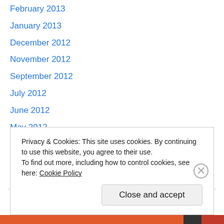February 2013
January 2013
December 2012
November 2012
September 2012
July 2012
June 2012
May 2012
April 2012
Categories
ggplot2
Privacy & Cookies: This site uses cookies. By continuing to use this website, you agree to their use.
To find out more, including how to control cookies, see here: Cookie Policy
Close and accept